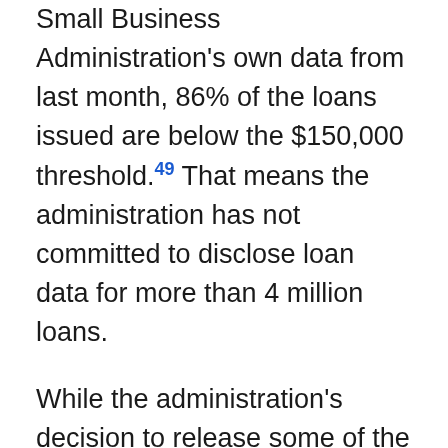Small Business Administration's own data from last month, 86% of the loans issued are below the $150,000 threshold.49 That means the administration has not committed to disclose loan data for more than 4 million loans.
While the administration's decision to release some of the data is a win for transparency and a step in the right direction, the agencies should still follow existing law and release the recipient names and exact loan amounts for all